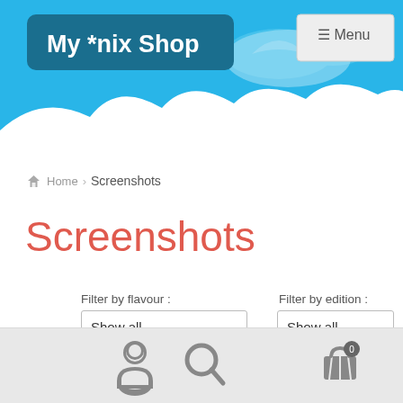[Figure (screenshot): Website header banner with blue sky background, bird silhouette, white cloud shapes at bottom. Logo box says 'My *nix Shop' in white on dark teal background. Menu button top right.]
Home > Screenshots
Screenshots
Filter by flavour :
Show all
Filter by edition :
Show all
[Figure (screenshot): Bottom navigation bar with user icon, search icon, and cart icon with badge showing 0]